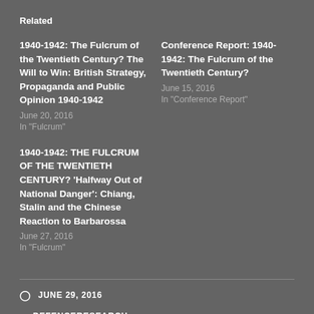Related
1940-1942: The Fulcrum of the Twentieth Century? The Will to Win: British Strategy, Propaganda and Public Opinion 1940-1942
June 20, 2016
In "Fulcrum"
Conference Report: 1940-1942: The Fulcrum of the Twentieth Century?
June 15, 2016
In "Conference Report"
1940-1942: THE FULCRUM OF THE TWENTIETH CENTURY? ‘Halfway Out of National Danger’: Chiang, Stalin and the Chinese Reaction to Barbarossa
June 27, 2016
In "Fulcrum"
JUNE 29, 2016
DEFENCERESEARCH